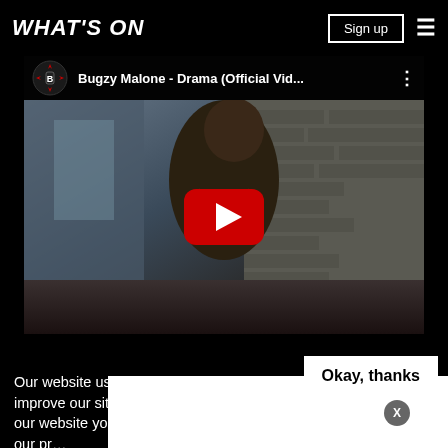WHAT'S ON
[Figure (screenshot): YouTube video embed showing 'Bugzy Malone - Drama (Official Vid...' with a play button overlay on a dark scene of a man leaning against a brick wall]
Our website uses cookies and other similar technologies to improve our site and your online experience. By continuing to use our website you consen... our pr...
Okay, thanks